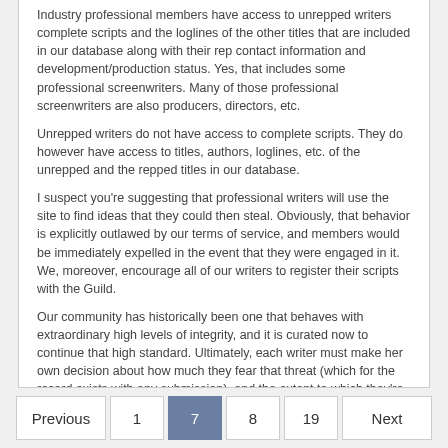Industry professional members have access to unrepped writers complete scripts and the loglines of the other titles that are included in our database along with their rep contact information and development/production status. Yes, that includes some professional screenwriters. Many of those professional screenwriters are also producers, directors, etc.
Unrepped writers do not have access to complete scripts. They do however have access to titles, authors, loglines, etc. of the unrepped and the repped titles in our database.
I suspect you're suggesting that professional writers will use the site to find ideas that they could then steal. Obviously, that behavior is explicitly outlawed by our terms of service, and members would be immediately expelled in the event that they were engaged in it. We, moreover, encourage all of our writers to register their scripts with the Guild.
Our community has historically been one that behaves with extraordinary high levels of integrity, and it is curated now to continue that high standard. Ultimately, each writer must make her own decision about how much they fear that threat (which for the record exists with any submission), and the extent to which they're willing to risk it for the opportunity that this initiative presents.
It is my personal belief that that risk is extraordinarily low in the context of our site, and we make every effort to keep it that way.
Previous  1  7  8  19  Next